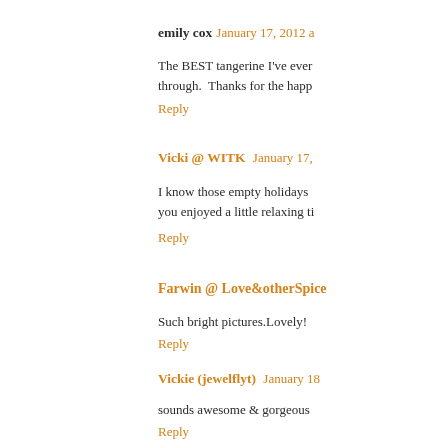emily cox  January 17, 2012 a
The BEST tangerine I've ever through.  Thanks for the happ
Reply
Vicki @ WITK  January 17,
I know those empty holidays you enjoyed a little relaxing ti
Reply
Farwin @ Love&otherSpice
Such bright pictures.Lovely!
Reply
Vickie (jewelflyt)  January 18
sounds awesome & gorgeous
Reply